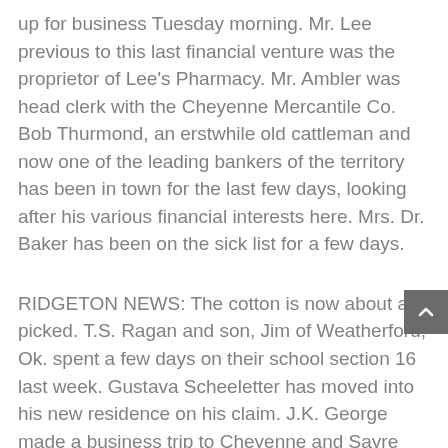up for business Tuesday morning. Mr. Lee previous to this last financial venture was the proprietor of Lee's Pharmacy. Mr. Ambler was head clerk with the Cheyenne Mercantile Co. Bob Thurmond, an erstwhile old cattleman and now one of the leading bankers of the territory has been in town for the last few days, looking after his various financial interests here. Mrs. Dr. Baker has been on the sick list for a few days.
RIDGETON NEWS: The cotton is now about all picked. T.S. Ragan and son, Jim of Weatherford, Ok. spent a few days on their school section 16 last week. Gustava Scheeletter has moved into his new residence on his claim. J.K. George made a business trip to Cheyenne and Sayre last week. Revival services in the Union Chapel Church began Jan 27 to last two weeks or more. Rev. Suttle is conducting the meeting. Rev. Porter of El Reno preached last Monday night, Jan 29 and held quarterly conference